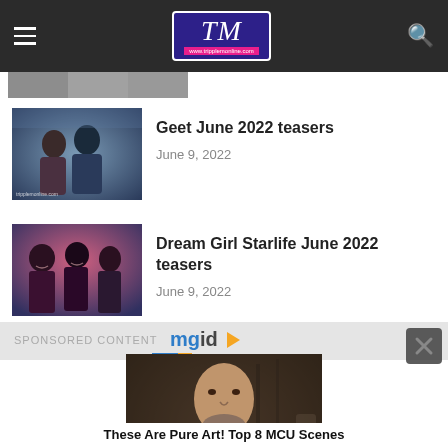TM tripplemonline.com
[Figure (screenshot): Partially visible thumbnail image at top]
[Figure (photo): Thumbnail image for Geet June 2022 teasers article showing a couple]
Geet June 2022 teasers
June 9, 2022
[Figure (photo): Thumbnail image for Dream Girl Starlife June 2022 teasers showing people smiling]
Dream Girl Starlife June 2022 teasers
June 9, 2022
SPONSORED CONTENT mgid
[Figure (photo): Advertisement image showing a man (Thor/MCU actor) sitting indoors]
These Are Pure Art! Top 8 MCU Scenes